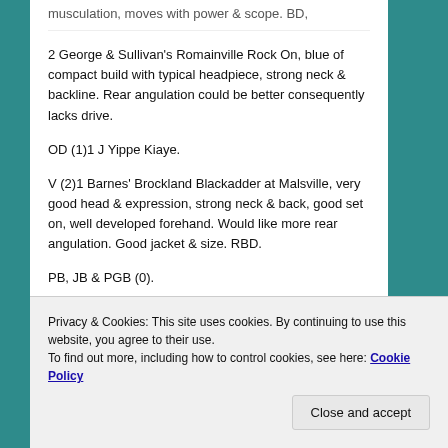musculation, moves with power & scope. BD,
2 George & Sullivan's Romainville Rock On, blue of compact build with typical headpiece, strong neck & backline. Rear angulation could be better consequently lacks drive.
OD (1)1 J Yippe Kiaye.
V (2)1 Barnes' Brockland Blackadder at Malsville, very good head & expression, strong neck & back, good set on, well developed forehand. Would like more rear angulation. Good jacket & size. RBD.
PB, JB & PGB (0).
Privacy & Cookies: This site uses cookies. By continuing to use this website, you agree to their use.
To find out more, including how to control cookies, see here: Cookie Policy
Close and accept